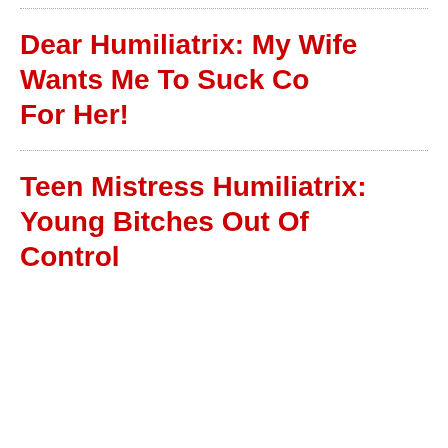Dear Humiliatrix: My Wife Wants Me To Suck Co... For Her!
Teen Mistress Humiliatrix: Young Bitches Out Of Control